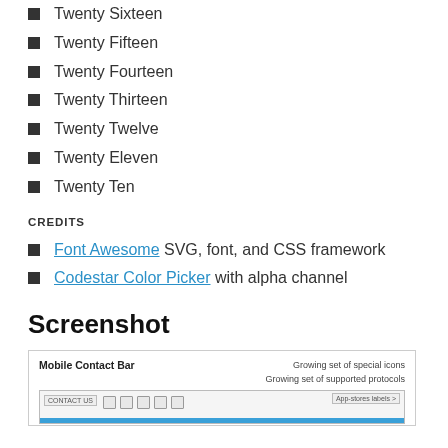Twenty Sixteen
Twenty Fifteen
Twenty Fourteen
Twenty Thirteen
Twenty Twelve
Twenty Eleven
Twenty Ten
CREDITS
Font Awesome SVG, font, and CSS framework
Codestar Color Picker with alpha channel
Screenshot
[Figure (screenshot): Screenshot showing Mobile Contact Bar plugin interface with icons and text 'Growing set of special icons, Growing set of supported protocols']